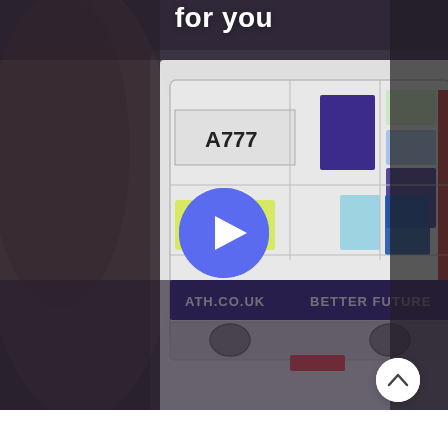for you
[Figure (photo): A blurred photo showing a person looking at a display of a bus illustration. The bus shows text 'A777', 'ATH.CO.UK', 'BETTER FUTURE'. A blue play button overlay is centered on the image.]
[Figure (illustration): Circular scroll-up button (chevron up arrow) in white circle at bottom right]